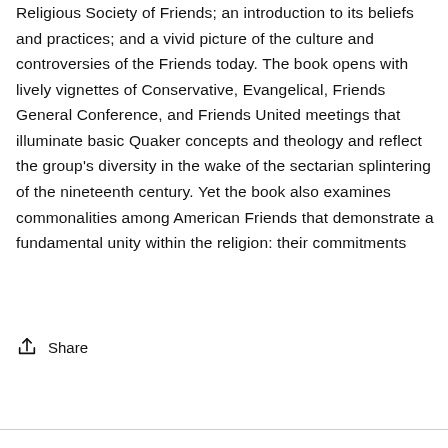Religious Society of Friends; an introduction to its beliefs and practices; and a vivid picture of the culture and controversies of the Friends today. The book opens with lively vignettes of Conservative, Evangelical, Friends General Conference, and Friends United meetings that illuminate basic Quaker concepts and theology and reflect the group's diversity in the wake of the sectarian splintering of the nineteenth century. Yet the book also examines commonalities among American Friends that demonstrate a fundamental unity within the religion: their commitments
Share